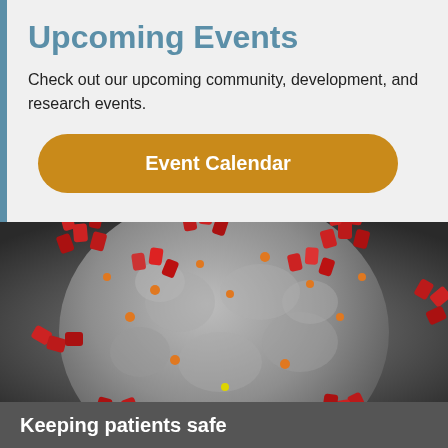Upcoming Events
Check out our upcoming community, development, and research events.
Event Calendar
[Figure (photo): Close-up 3D rendering of a coronavirus particle with red spike proteins on a grey surface against a dark grey background]
Keeping patients safe